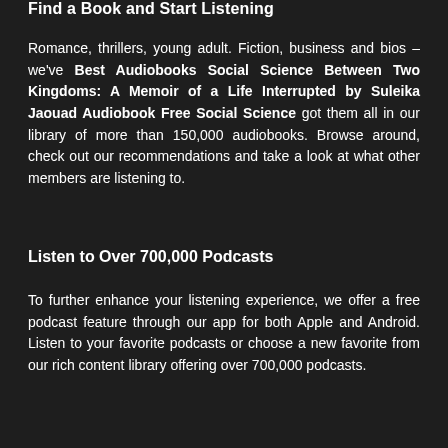Find a Book and Start Listening
Romance, thrillers, young adult. Fiction, business and bios – we've Best Audiobooks Social Science Between Two Kingdoms: A Memoir of a Life Interrupted by Suleika Jaouad Audiobook Free Social Science got them all in our library of more than 150,000 audiobooks. Browse around, check out our recommendations and take a look at what other members are listening to.
Listen to Over 700,000 Podcasts
To further enhance your listening experience, we offer a free podcast feature through our app for both Apple and Android. Listen to your favorite podcasts or choose a new favorite from our rich content library offering over 700,000 podcasts.